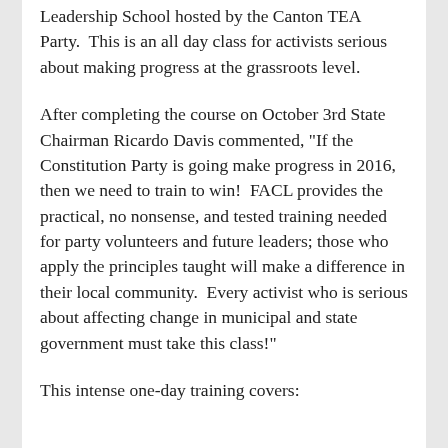Leadership School hosted by the Canton TEA Party.  This is an all day class for activists serious about making progress at the grassroots level.
After completing the course on October 3rd State Chairman Ricardo Davis commented, "If the Constitution Party is going make progress in 2016, then we need to train to win!  FACL provides the practical, no nonsense, and tested training needed for party volunteers and future leaders; those who apply the principles taught will make a difference in their local community.  Every activist who is serious about affecting change in municipal and state government must take this class!"
This intense one-day training covers: